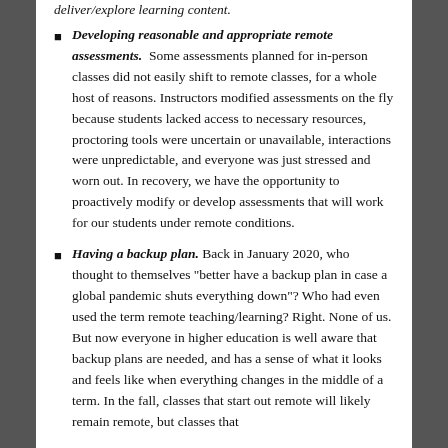Developing reasonable and appropriate remote assessments. Some assessments planned for in-person classes did not easily shift to remote classes, for a whole host of reasons. Instructors modified assessments on the fly because students lacked access to necessary resources, proctoring tools were uncertain or unavailable, interactions were unpredictable, and everyone was just stressed and worn out. In recovery, we have the opportunity to proactively modify or develop assessments that will work for our students under remote conditions.
Having a backup plan. Back in January 2020, who thought to themselves "better have a backup plan in case a global pandemic shuts everything down"? Who had even used the term remote teaching/learning? Right. None of us. But now everyone in higher education is well aware that backup plans are needed, and has a sense of what it looks and feels like when everything changes in the middle of a term. In the fall, classes that start out remote will likely remain remote, but classes that